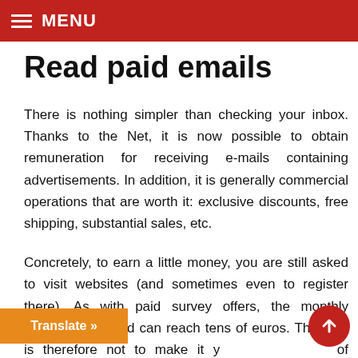MENU
Read paid emails
There is nothing simpler than checking your inbox. Thanks to the Net, it is now possible to obtain remuneration for receiving e-mails containing advertisements. In addition, it is generally commercial operations that are worth it: exclusive discounts, free shipping, substantial sales, etc.
Concretely, to earn a little money, you are still asked to visit websites (and sometimes even to register there). As with paid survey offers, the monthly amounts collected can reach tens of euros. The goal is therefore not to make it y... of income, but to make ends meet difficulty.